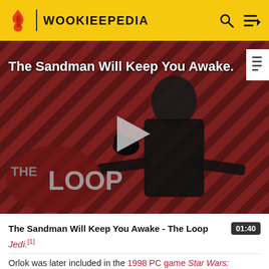WOOKIEEPEDIA
[Figure (screenshot): Video thumbnail showing a dark-clothed figure against a red diagonal striped background with 'THE LOOP' text overlay and a play button in the center. Title text reads 'The Sandman Will Keep You Awake.']
The Sandman Will Keep You Awake - The Loop  01:40
Jedi.[1]
Orlok was later included in the 1998 PC game Star Wars: Rebellion as a playable character available to the